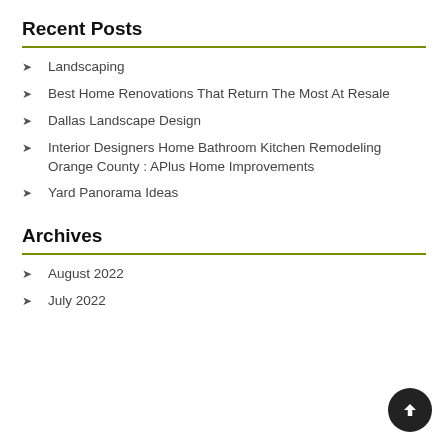Recent Posts
Landscaping
Best Home Renovations That Return The Most At Resale
Dallas Landscape Design
Interior Designers Home Bathroom Kitchen Remodeling Orange County : APlus Home Improvements
Yard Panorama Ideas
Archives
August 2022
July 2022